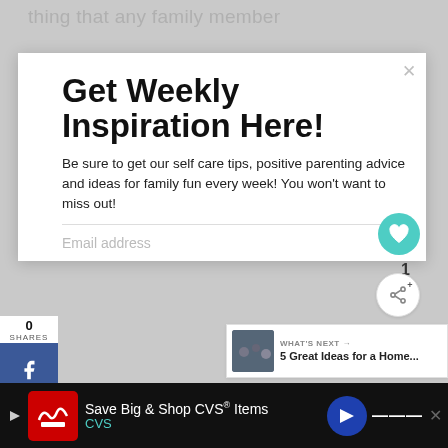thing that any family member
Get Weekly Inspiration Here!
Be sure to get our self care tips, positive parenting advice and ideas for family fun every week! You won't want to miss out!
Email address
0
SHARES
What are you interested in hearing
WHAT'S NEXT → 5 Great Ideas for a Home...
Self Care & Relationships
Save Big & Shop CVS® Items
CVS